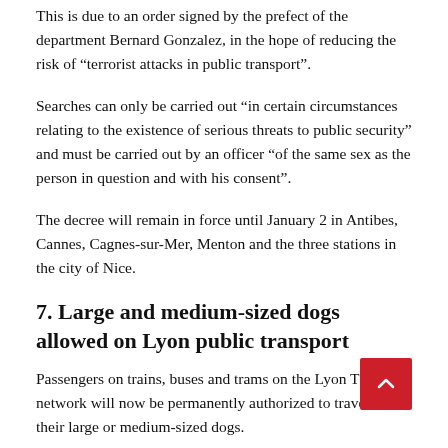This is due to an order signed by the prefect of the department Bernard Gonzalez, in the hope of reducing the risk of “terrorist attacks in public transport”.
Searches can only be carried out “in certain circumstances relating to the existence of serious threats to public security” and must be carried out by an officer “of the same sex as the person in question and with his consent”.
The decree will remain in force until January 2 in Antibes, Cannes, Cagnes-sur-Mer, Menton and the three stations in the city of Nice.
7. Large and medium-sized dogs allowed on Lyon public transport
Passengers on trains, buses and trams on the Lyon TCL network will now be permanently authorized to travel with their large or medium-sized dogs.
The admission of large dogs has been experimented for five